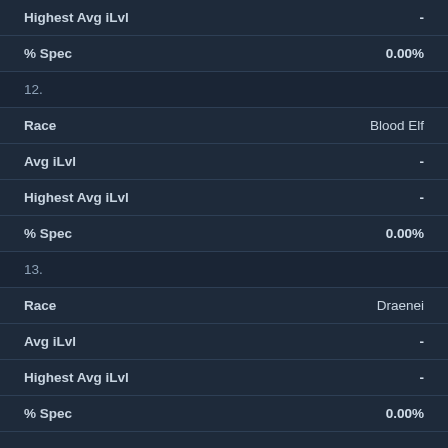| Field | Value |
| --- | --- |
| Highest Avg iLvl | - |
| % Spec | 0.00% |
| 12. |  |
| Race | Blood Elf |
| Avg iLvl | - |
| Highest Avg iLvl | - |
| % Spec | 0.00% |
| 13. |  |
| Race | Draenei |
| Avg iLvl | - |
| Highest Avg iLvl | - |
| % Spec | 0.00% |